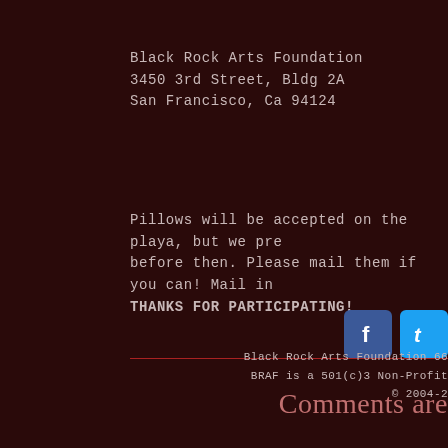Black Rock Arts Foundation
3450 3rd Street, Bldg 2A
San Francisco, Ca 94124
Pillows will be accepted on the playa, but we pre before then. Please mail them if you can! Mail in THANKS FOR PARTICIPATING!
Comments are
[Figure (logo): Facebook logo icon (blue square with white f)]
[Figure (logo): Twitter logo icon (light blue square with white t)]
Black Rock Arts Foundation 66
BRAF is a 501(c)3 Non-Profit
© 2004-2